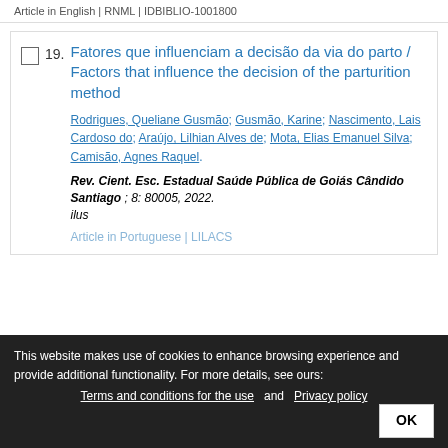Article in English | RNML | IDBIBLIO-1001800
Fatores que influenciam a decisão da via do parto / Factors that influence the decision of the parturition method
Rodrigues, Queliane Gusmão; Gusmão, Karine; Nascimento, Lais Cardoso do; Araújo, Lilhian Alves de; Mota, Elias Emanuel Silva; Camisão, Agnes Raquel.
Rev. Cient. Esc. Estadual Saúde Pública de Goiás Cândido Santiago ; 8: 80005, 2022. ilus
Article in Portuguese | LILACS
This website makes use of cookies to enhance browsing experience and provide additional functionality. For more details, see ours: Terms and conditions for the use and Privacy policy